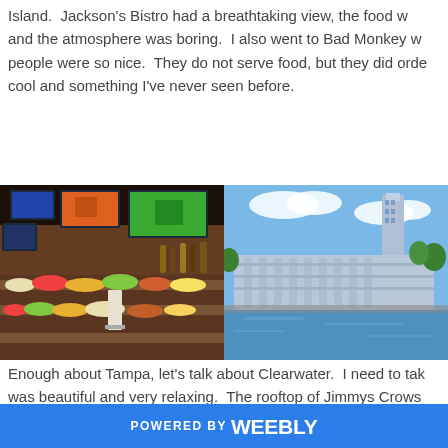Island.  Jackson's Bistro had a breathtaking view, the food w... and the atmosphere was boring.  I also went to Bad Monkey w... people were so nice.  They do not serve food, but they did orde... cool and something I've never seen before.
[Figure (photo): Interior of a restaurant bar with large TV screens on wall and a buffet/display of food items in the foreground]
[Figure (photo): Waterfront view of a large modern building complex with a tower, seen from across the water under blue sky]
Enough about Tampa, let's talk about Clearwater.  I need to tak... was beautiful and very relaxing.  The rooftop of Jimmys Crows... but their food menu is *blah*.  I didn't eat there and I am glad... with a burger? I want fries!  So I ended up going to French
POWERED BY weebly